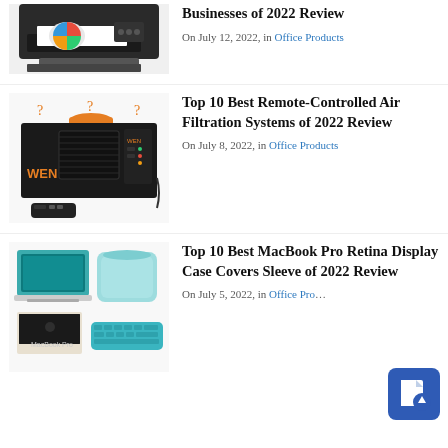[Figure (photo): Photo of a printer (partially cropped at top)]
Businesses of 2022 Review
On July 12, 2022, in Office Products
[Figure (photo): Photo of a WEN remote-controlled air filtration system (black box with orange accents and remote)]
Top 10 Best Remote-Controlled Air Filtration Systems of 2022 Review
On July 8, 2022, in Office Products
[Figure (photo): Photo of MacBook Pro with teal case covers and keyboard cover accessory]
Top 10 Best MacBook Pro Retina Display Case Covers Sleeve of 2022 Review
On July 5, 2022, in Office Products